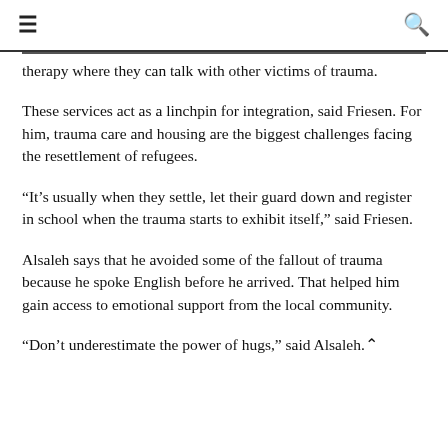≡  🔍
therapy where they can talk with other victims of trauma.
These services act as a linchpin for integration, said Friesen. For him, trauma care and housing are the biggest challenges facing the resettlement of refugees.
“It’s usually when they settle, let their guard down and register in school when the trauma starts to exhibit itself,” said Friesen.
Alsaleh says that he avoided some of the fallout of trauma because he spoke English before he arrived. That helped him gain access to emotional support from the local community.
“Don’t underestimate the power of hugs,” said Alsaleh.